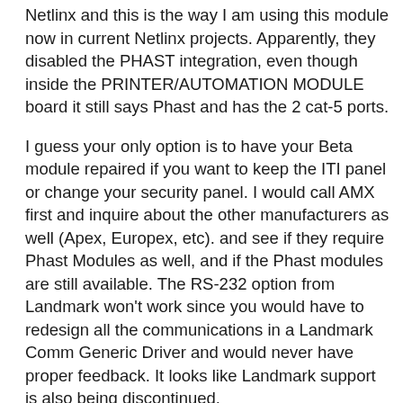Netlinx and this is the way I am using this module now in current Netlinx projects. Apparently, they disabled the PHAST integration, even though inside the PRINTER/AUTOMATION MODULE board it still says Phast and has the 2 cat-5 ports.
I guess your only option is to have your Beta module repaired if you want to keep the ITI panel or change your security panel. I would call AMX first and inquire about the other manufacturers as well (Apex, Europex, etc). and see if they require Phast Modules as well, and if the Phast modules are still available. The RS-232 option from Landmark won't work since you would have to redesign all the communications in a Landmark Comm Generic Driver and would never have proper feedback. It looks like Landmark support is also being discontinued.
Sincerely,
Ricardo